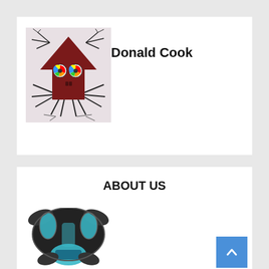[Figure (illustration): A cartoon illustration of a dark red house-shaped creature with colorful eyes, legs like a spider, and tree branch-like arms on a light gray background]
Donald Cook
ABOUT US
[Figure (illustration): A stylized indigenous or tribal art illustration of a figure with teal/blue designs on a dark background]
[Figure (other): A scroll-to-top button with a white upward chevron on a blue square background]